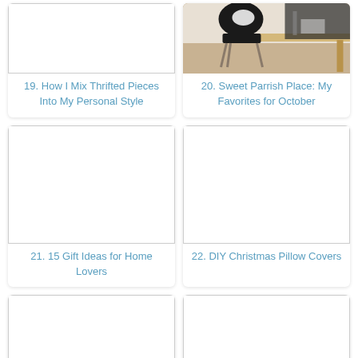[Figure (photo): Blank/white image placeholder for item 19]
19. How I Mix Thrifted Pieces Into My Personal Style
[Figure (photo): Photo of a chair at a wooden desk, home decor style]
20. Sweet Parrish Place: My Favorites for October
[Figure (photo): Blank/white image placeholder for item 21]
21. 15 Gift Ideas for Home Lovers
[Figure (photo): Blank/white image placeholder for item 22]
22. DIY Christmas Pillow Covers
[Figure (photo): Blank/white image placeholder for item 23 (partial)]
[Figure (photo): Blank/white image placeholder for item 24 (partial)]